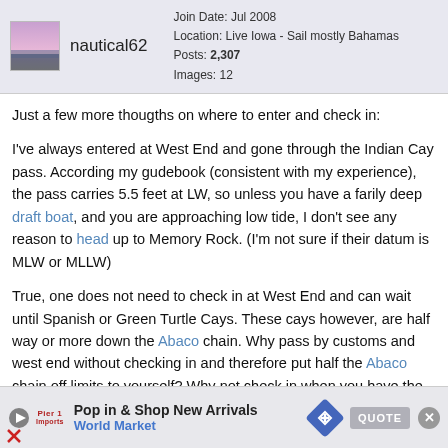nautical62 | Join Date: Jul 2008 | Location: Live Iowa - Sail mostly Bahamas | Posts: 2,307 | Images: 12
Just a few more thougths on where to enter and check in:

I've always entered at West End and gone through the Indian Cay pass. According my gudebook (consistent with my experience), the pass carries 5.5 feet at LW, so unless you have a farily deep draft boat, and you are approaching low tide, I don't see any reason to head up to Memory Rock. (I'm not sure if their datum is MLW or MLLW)

True, one does not need to check in at West End and can wait until Spanish or Green Turtle Cays. These cays however, are half way or more down the Abaco chain. Why pass by customs and west end without checking in and therefore put half the Abaco chain off limits to yourself? Why not check in when you have the opportunity at West End and have more options available? You never know when unplanned events may change your plans and you'll have the opportunity to explore many of the beautiful northern cays
[Figure (screenshot): Advertisement banner for World Market - Pop in & Shop New Arrivals]